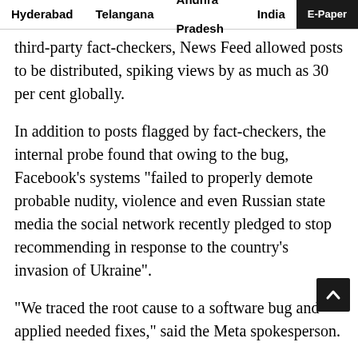Hyderabad  Telangana  Andhra Pradesh  India  E-Paper
third-party fact-checkers, News Feed allowed posts to be distributed, spiking views by as much as 30 per cent globally.
In addition to posts flagged by fact-checkers, the internal probe found that owing to the bug, Facebook's systems "failed to properly demote probable nudity, violence and even Russian state media the social network recently pledged to stop recommending in response to the country's invasion of Ukraine".
"We traced the root cause to a software bug and applied needed fixes," said the Meta spokesperson.
In October last year, Facebook began to demote all Group content from people who have violated its